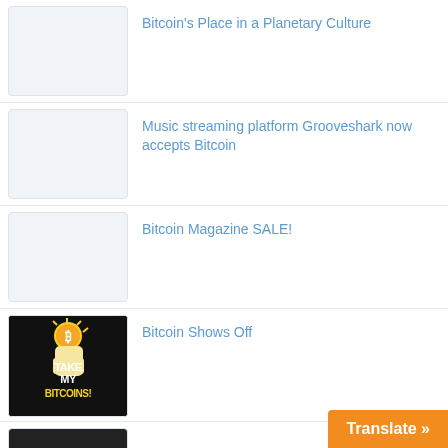Bitcoin's Place in a Planetary Culture
Music streaming platform Grooveshark now accepts Bitcoin
Bitcoin Magazine SALE!
Bitcoin Shows Off
[Figure (screenshot): Take My Bitcoins logo with fist holding Bitcoin coin, black background, yellow and white text]
Translate »